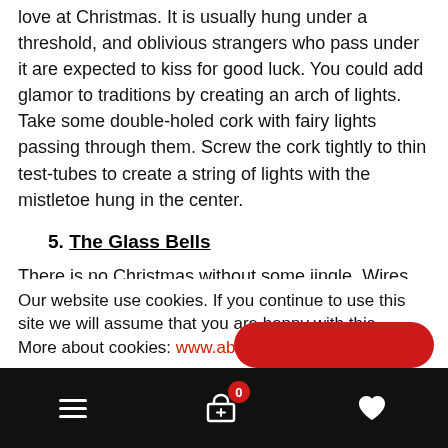love at Christmas. It is usually hung under a threshold, and oblivious strangers who pass under it are expected to kiss for good luck. You could add glamor to traditions by creating an arch of lights. Take some double-holed cork with fairy lights passing through them. Screw the cork tightly to thin test-tubes to create a string of lights with the mistletoe hung in the center.
5. The Glass Bells
There is no Christmas without some jingle. Wires for tiny bells and low-voltage bulbs could be passed through cork on the neck of the thistle funnels and conical
Our website use cookies. If you continue to use this site we will assume that you are happy with this.
More about cookies: www.aboutcookies.org
navigation bar with hamburger menu, cart (0), and heart icons